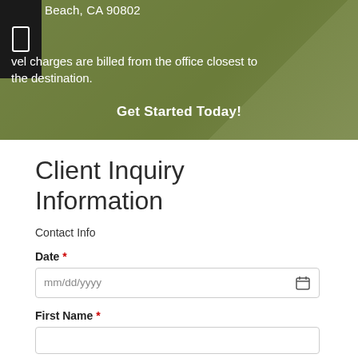Beach, CA 90802
vel charges are billed from the office closest to the destination.
Get Started Today!
Client Inquiry Information
Contact Info
Date *
mm/dd/yyyy
First Name *